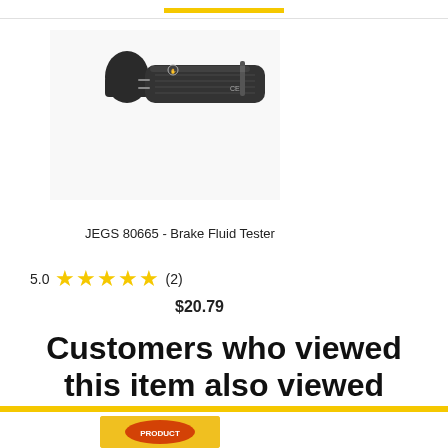[Figure (photo): A brake fluid tester pen (dark grey/black) with cap removed, showing metal probe tips]
JEGS 80665 - Brake Fluid Tester
5.0  ★★★★★  (2)
$20.79
Customers who viewed this item also viewed
[Figure (photo): Partial view of a yellow product at the bottom of the page]